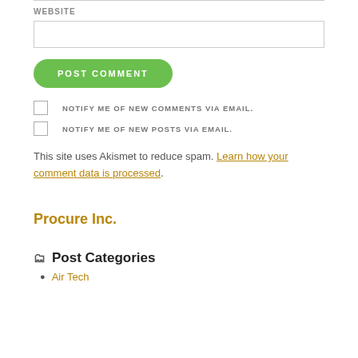WEBSITE
POST COMMENT
NOTIFY ME OF NEW COMMENTS VIA EMAIL.
NOTIFY ME OF NEW POSTS VIA EMAIL.
This site uses Akismet to reduce spam. Learn how your comment data is processed.
Procure Inc.
Post Categories
Air Tech